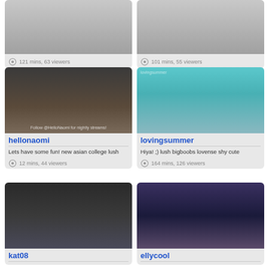[Figure (photo): Partial top card left - cropped adult content thumbnail]
121 mins, 63 viewers
[Figure (photo): Partial top card right - cropped adult content thumbnail]
101 mins, 55 viewers
[Figure (photo): hellonaomi profile thumbnail - person in white top]
hellonaomi
Lets have some fun! new asian college lush
12 mins, 44 viewers
[Figure (photo): lovingsummer profile thumbnail - blonde person smiling]
lovingsummer
Hiya! ;) lush bigboobs lovense shy cute
164 mins, 126 viewers
[Figure (photo): kat08 profile thumbnail - adult content]
kat08
[Figure (photo): ellycool profile thumbnail - young woman smiling in room]
ellycool